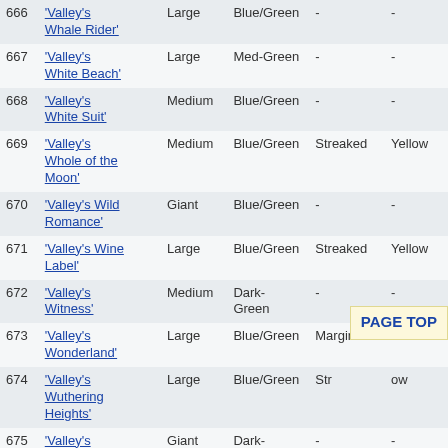| # | Name | Size | Color | Mark | Throat |
| --- | --- | --- | --- | --- | --- |
| 666 | 'Valley's Whale Rider' | Large | Blue/Green | - | - |
| 667 | 'Valley's White Beach' | Large | Med-Green | - | - |
| 668 | 'Valley's White Suit' | Medium | Blue/Green | - | - |
| 669 | 'Valley's Whole of the Moon' | Medium | Blue/Green | Streaked | Yellow |
| 670 | 'Valley's Wild Romance' | Giant | Blue/Green | - | - |
| 671 | 'Valley's Wine Label' | Large | Blue/Green | Streaked | Yellow |
| 672 | 'Valley's Witness' | Medium | Dark-Green | - | - |
| 673 | 'Valley's Wonderland' | Large | Blue/Green | Marginal | Yellow |
| 674 | 'Valley's Wuthering Heights' | Large | Blue/Green | Str... | ow |
| 675 | 'Valley's XXYI...' | Giant | Dark-Green | - | - |